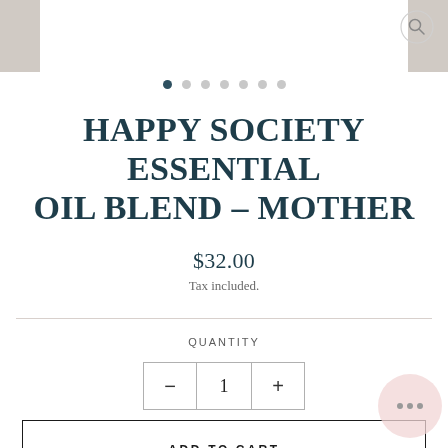[Figure (screenshot): Top image strip with gray side panels and white center, with a circular search icon in top right]
[Figure (infographic): Carousel navigation dots: one filled dark, six light gray]
HAPPY SOCIETY ESSENTIAL OIL BLEND – MOTHER
$32.00
Tax included.
QUANTITY
1
ADD TO CART